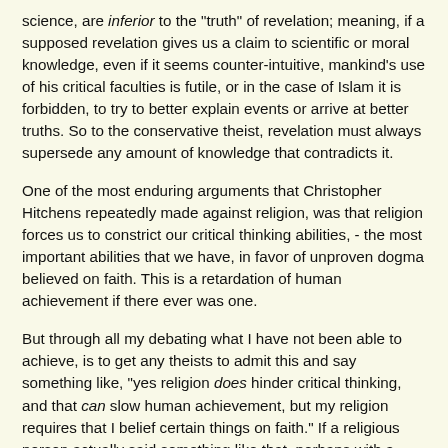science, are inferior to the "truth" of revelation; meaning, if a supposed revelation gives us a claim to scientific or moral knowledge, even if it seems counter-intuitive, mankind's use of his critical faculties is futile, or in the case of Islam it is forbidden, to try to better explain events or arrive at better truths. So to the conservative theist, revelation must always supersede any amount of knowledge that contradicts it.
One of the most enduring arguments that Christopher Hitchens repeatedly made against religion, was that religion forces us to constrict our critical thinking abilities, - the most important abilities that we have, in favor of unproven dogma believed on faith. This is a retardation of human achievement if there ever was one.
But through all my debating what I have not been able to achieve, is to get any theists to admit this and say something like, "yes religion does hinder critical thinking, and that can slow human achievement, but my religion requires that I belief certain things on faith." If a religious person actually said something like that, perhaps with a difference choice of